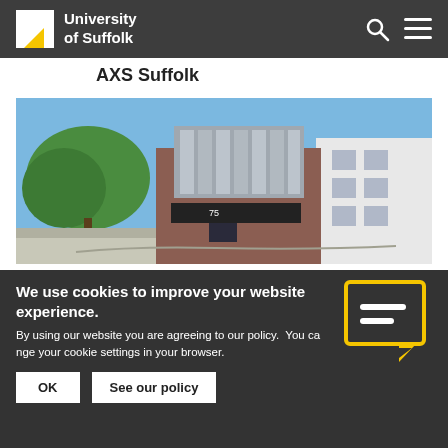University of Suffolk
AXS Suffolk
[Figure (photo): Exterior photo of a multi-storey building (AXS Suffolk) with brick and glass facade, trees on left, blue sky background, signage reading '75' at entrance level]
We use cookies to improve your website experience.
By using our website you are agreeing to our policy.  You can change your cookie settings in your browser.
OK
See our policy